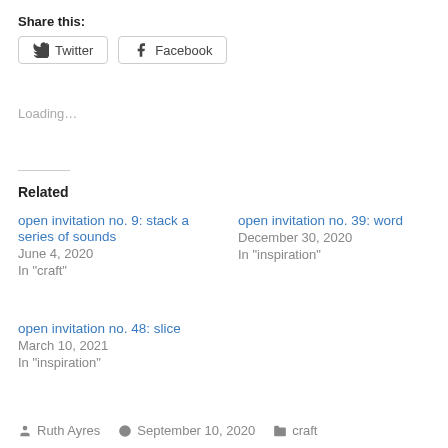Share this:
Twitter  Facebook
Loading…
Related
open invitation no. 9: stack a series of sounds
June 4, 2020
In "craft"
open invitation no. 39: word
December 30, 2020
In "inspiration"
open invitation no. 48: slice
March 10, 2021
In "inspiration"
Ruth Ayres  September 10, 2020  craft